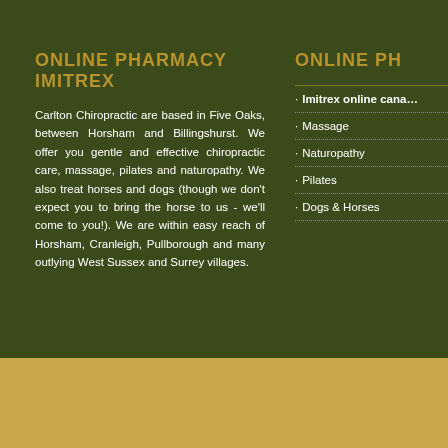ONLINE PHARMACY IMITREX
Carlton Chiropractic are based in Five Oaks, between Horsham and Billingshurst. We offer you gentle and effective chiropractic care, massage, pilates and naturopathy. We also treat horses and dogs (though we don't expect you to bring the horse to us - we'll come to you!). We are within easy reach of Horsham, Cranleigh, Pullborough and many outlying West Sussex and Surrey villages.
ONLINE PH…
Imitrex online cana…
Massage
Naturopathy
Pilates
Dogs & Horses
© 2021 Carlton Chiropratic  |  all rights reserved